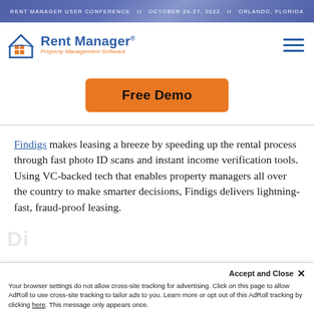RENT MANAGER USER CONFERENCE  ||  OCTOBER 24-27, 2022  ||  ORLANDO, FLORIDA
[Figure (logo): Rent Manager Property Management Software logo with house/grid icon in blue and orange]
Free Demo
Findigs makes leasing a breeze by speeding up the rental process through fast photo ID scans and instant income verification tools. Using VC-backed tech that enables property managers all over the country to make smarter decisions, Findigs delivers lightning-fast, fraud-proof leasing.
Accept and Close ✕
Your browser settings do not allow cross-site tracking for advertising. Click on this page to allow AdRoll to use cross-site tracking to tailor ads to you. Learn more or opt out of this AdRoll tracking by clicking here. This message only appears once.